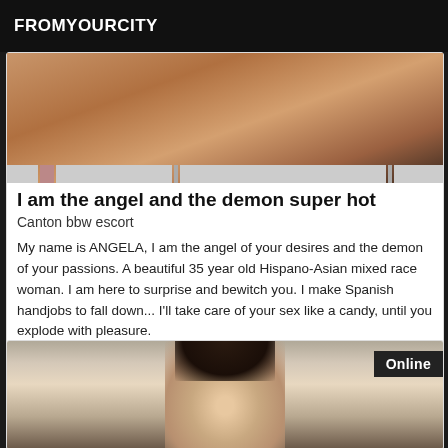FROMYOURCITY
[Figure (photo): Close-up photo of skin/body, warm brown tones against dark background]
I am the angel and the demon super hot
Canton bbw escort
My name is ANGELA, I am the angel of your desires and the demon of your passions. A beautiful 35 year old Hispano-Asian mixed race woman. I am here to surprise and bewitch you. I make Spanish handjobs to fall down... I'll take care of your sex like a candy, until you explode with pleasure.
[Figure (photo): Photo of a dark-haired woman, with Online badge overlay in upper right corner]